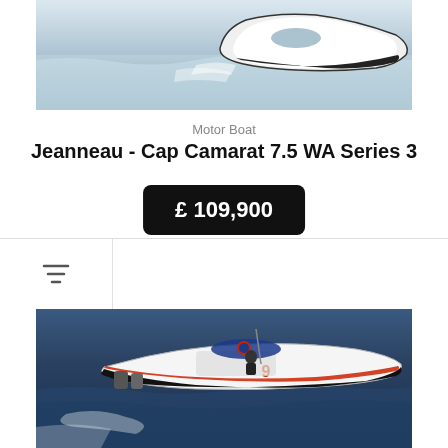[Figure (photo): Aerial/side view of a white motor boat (Jeanneau Cap Camarat 7.5 WA Series 3) speeding on water, black and white hull design visible from above]
Motor Boat
Jeanneau - Cap Camarat 7.5 WA Series 3
£ 109,900
[Figure (photo): Aerial view of a black and white sport boat with number 9 on hull, person standing on deck, blue canopy/cover, speeding on dark blue ocean water with white wake trail, outboard motors visible at stern]